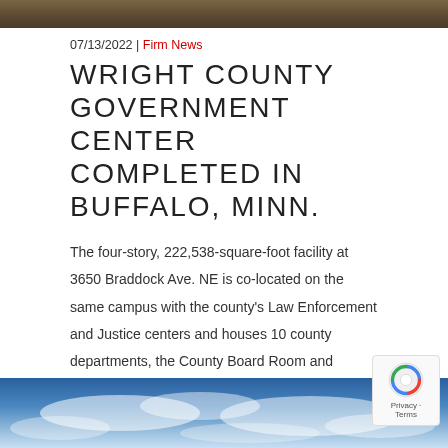[Figure (photo): Top portion of a building photo, partially cropped]
07/13/2022 | Firm News
WRIGHT COUNTY GOVERNMENT CENTER COMPLETED IN BUFFALO, MINN.
The four-story, 222,538-square-foot facility at 3650 Braddock Ave. NE is co-located on the same campus with the county's Law Enforcement and Justice centers and houses 10 county departments, the County Board Room and Department of Motor Vehicles' License Center.
READ STORY →
[Figure (photo): Sky with clouds, blue sky background at bottom of page]